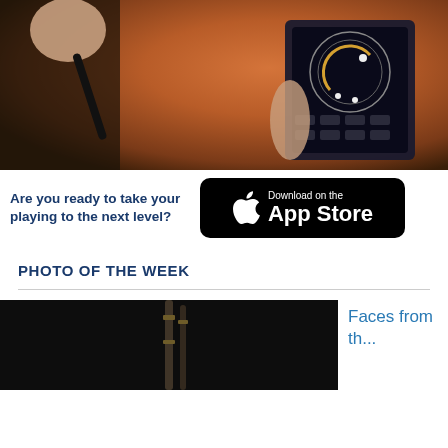[Figure (photo): Person holding a smartphone, viewed from the side, with autumn foliage background]
[Figure (infographic): Advertisement banner: 'Are you ready to take your playing to the next level?' with Apple App Store download button]
PHOTO OF THE WEEK
[Figure (photo): Dark photo showing a person playing bagpipes, partially visible]
Faces from th...